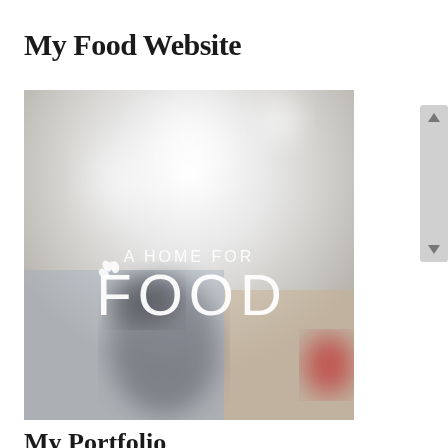My Food Website
[Figure (photo): Blurred restaurant/cafe interior with bokeh lights, overlaid with white text reading 'A HOME FOR FOOD' with a laurel wreath emblem on the F]
My Portfolio